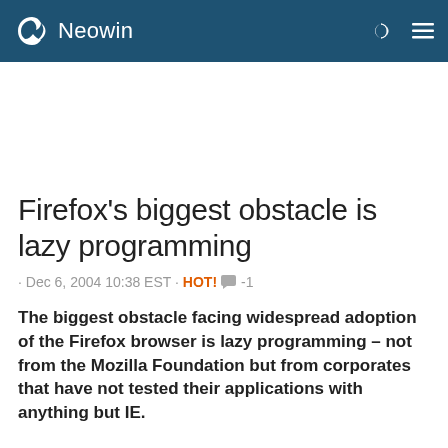Neowin
Firefox's biggest obstacle is lazy programming
· Dec 6, 2004 10:38 EST · HOT! 💬 -1
The biggest obstacle facing widespread adoption of the Firefox browser is lazy programming – not from the Mozilla Foundation but from corporates that have not tested their applications with anything but IE.